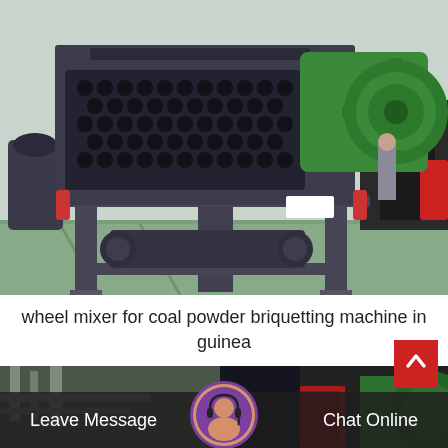[Figure (photo): Industrial coal powder briquetting machine with wheel mixer. Large dark grey machine with roller press, green motor/gear unit on right side, red accent handles, mounted on metal frame. Photographed in industrial warehouse/factory floor.]
wheel mixer for coal powder briquetting machine in guinea
[Figure (photo): Partial view of similar industrial briquetting machine from different angle in factory setting, with pipes/ducts visible in background. Shows green and red machine components.]